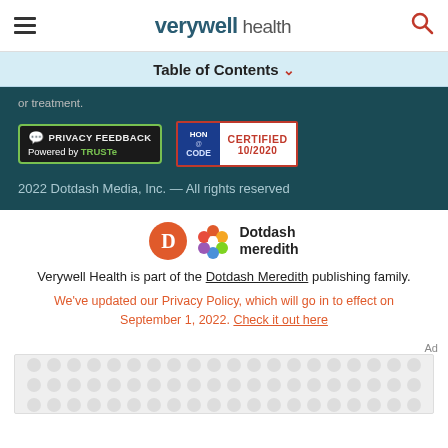verywell health
Table of Contents
or treatment.
[Figure (logo): Privacy Feedback badge powered by TRUSTe]
[Figure (logo): HON CODE Certified 10/2020 badge]
2022 Dotdash Media, Inc. — All rights reserved
[Figure (logo): Dotdash Meredith logo]
Verywell Health is part of the Dotdash Meredith publishing family.
We've updated our Privacy Policy, which will go in to effect on September 1, 2022. Check it out here
Ad